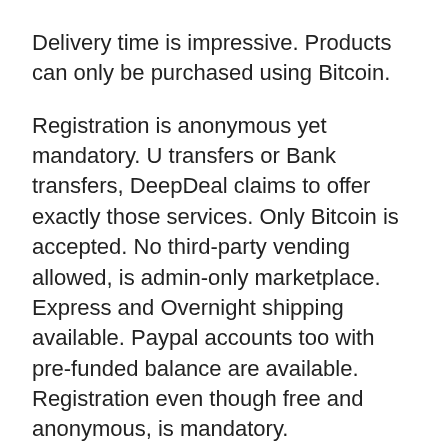Delivery time is impressive. Products can only be purchased using Bitcoin.
Registration is anonymous yet mandatory. U transfers or Bank transfers, DeepDeal claims to offer exactly those services. Only Bitcoin is accepted. No third-party vending allowed, is admin-only marketplace. Express and Overnight shipping available. Paypal accounts too with pre-funded balance are available. Registration even though free and anonymous, is mandatory.
What separates them from other similar dark web links is their tracking and communication system which transparently lets users track their orders and get in touch with the team. They accept only Bitcoin as the payment